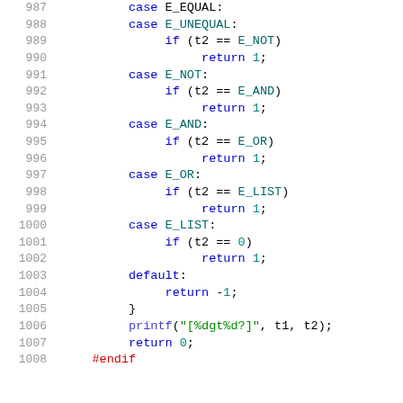[Figure (screenshot): Source code listing showing lines 987-1008 of a C/C++ file with syntax highlighting. Blue keywords, green strings, teal numbers and constants, red preprocessor directives.]